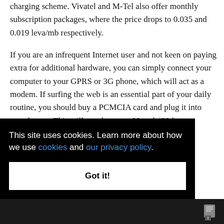charging scheme. Vivatel and M-Tel also offer monthly subscription packages, where the price drops to 0.035 and 0.019 leva/mb respectively.
If you are an infrequent Internet user and not keen on paying extra for additional hardware, you can simply connect your computer to your GPRS or 3G phone, which will act as a modem. If surfing the web is an essential part of your daily routine, you should buy a PCMCIA card and plug it into your laptop. This will cost between 89 and 499 leva, depending on the operator, the [also buy] [tion]
This site uses cookies. Learn more about how we use cookies and our privacy policy.
Got it!